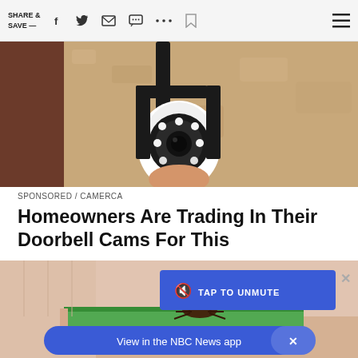SHARE & SAVE —
[Figure (photo): Close-up photo of a security camera mounted on a wall bracket with LED ring lights, installed near a textured stone/stucco wall]
SPONSORED / CAMERCA
Homeowners Are Trading In Their Doorbell Cams For This
[Figure (screenshot): Animated illustration of a cockroach in a kitchen scene, with a blue 'TAP TO UNMUTE' video overlay button and an X close button]
View in the NBC News app